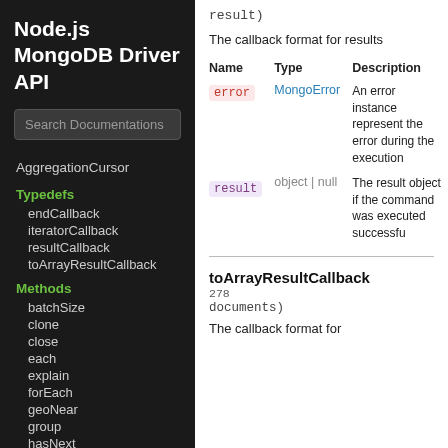Node.js MongoDB Driver API
Search Documentations
AggregationCursor
Typedefs
endCallback
iteratorCallback
resultCallback
toArrayResultCallback
Methods
batchSize
clone
close
each
explain
forEach
geoNear
group
hasNext
isClosed
limit
lookup
match
maxTimeMS
result)
The callback format for results
| Name | Type | Description |
| --- | --- | --- |
| error | MongoError | An error instance representing the error during the execution |
| result | object | null | The result object if the command was executed successfully |
toArrayResultCallback
278 documents)
The callback format for